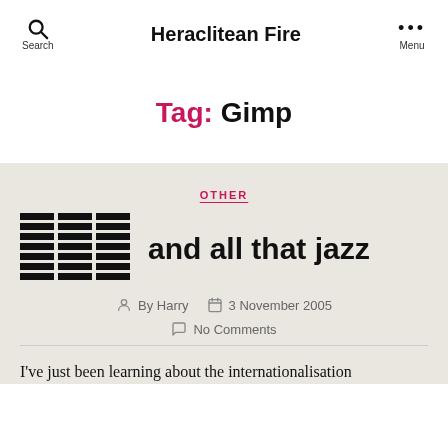Search | Heraclitean Fire | Menu
Tag: Gimp
OTHER
[Figure (logo): Blog post title logo with grid/bars icon followed by text 'and all that jazz' in bold black font]
By Harry | 3 November 2005 | No Comments
I've just been learning about the internationalisation